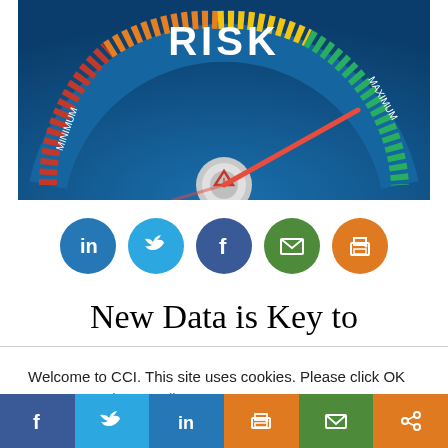[Figure (illustration): Risk gauge/speedometer with red needle pointing toward maximum, with 'RISK' text on the blue gauge face, showing MINIMUM on left and MAXIMUM on right, warning triangle symbol in center]
[Figure (infographic): Row of five circular social sharing icons: LinkedIn (blue), Twitter (light blue), Facebook (dark blue), Email (green), Print (orange)]
New Data is Key to
Welcome to CCI. This site uses cookies. Please click OK to accept. Privacy Policy
Cookie settings   ACCEPT
f  Twitter  in  Print  Mail  Share